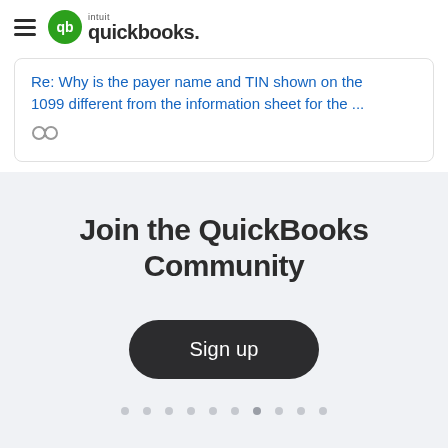intuit quickbooks.
Re: Why is the payer name and TIN shown on the 1099 different from the information sheet for the ...
Join the QuickBooks Community
Sign up